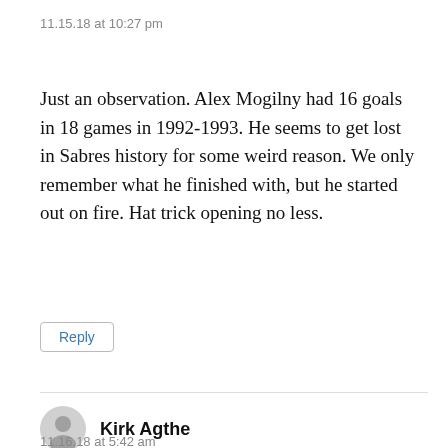11.15.18 at 10:27 pm
Just an observation. Alex Mogilny had 16 goals in 18 games in 1992-1993. He seems to get lost in Sabres history for some weird reason. We only remember what he finished with, but he started out on fire. Hat trick opening no less.
Reply
Kirk Agthe
11.16.18 at 5:42 am